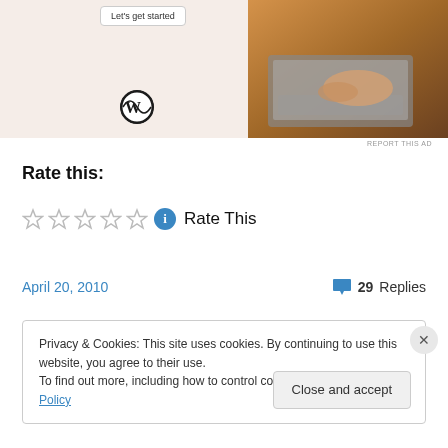[Figure (screenshot): WordPress advertisement banner showing 'Let's get started' button, WordPress logo, and a photo of hands typing on a laptop]
REPORT THIS AD
Rate this:
Rate This
April 20, 2010   29 Replies
Privacy & Cookies: This site uses cookies. By continuing to use this website, you agree to their use.
To find out more, including how to control cookies, see here: Cookie Policy
Close and accept